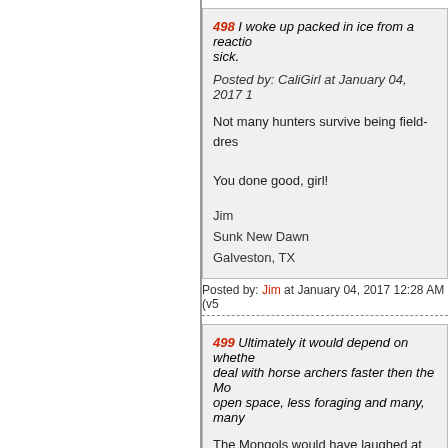498 I woke up packed in ice from a reaction... sick. Posted by: CaliGirl at January 04, 2017 1...
Not many hunters survive being field-dres...

You done good, girl!

Jim
Sunk New Dawn
Galveston, TX
Posted by: Jim at January 04, 2017 12:28 AM (v5...
499 Ultimately it would depend on whethe... deal with horse archers faster then the Mo... open space, less foraging and many, many...

The Mongols would have laughed at the B... Chinese cities.